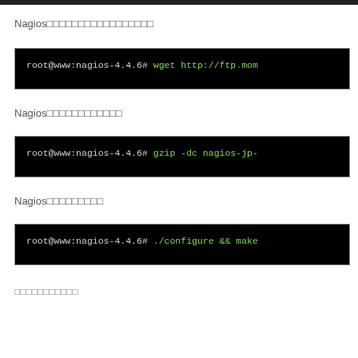Nagios□□□□□□□□□□□□□□□□□
[Figure (screenshot): Terminal showing: root@www:nagios-4.4.6# wget http://ftp.mom]
Nagios□□□□□□□□□□□□
[Figure (screenshot): Terminal showing: root@www:nagios-4.4.6# gzip -dc nagios-jp-]
Nagios□□□□□□□□□
[Figure (screenshot): Terminal showing: root@www:nagios-4.4.6# ./configure && make]
□□□□□□□□□□□